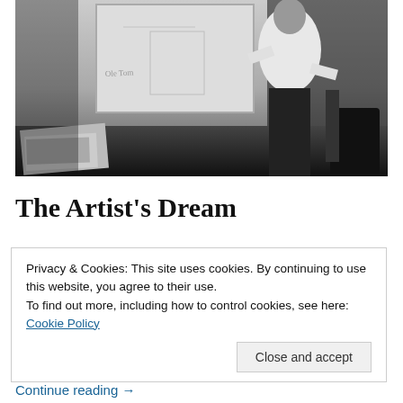[Figure (photo): Black and white photograph of a person in a white shirt standing next to a whiteboard/easel in what appears to be an office or studio setting. Papers and chairs visible in the background.]
The Artist's Dream
Privacy & Cookies: This site uses cookies. By continuing to use this website, you agree to their use.
To find out more, including how to control cookies, see here: Cookie Policy
Continue reading →